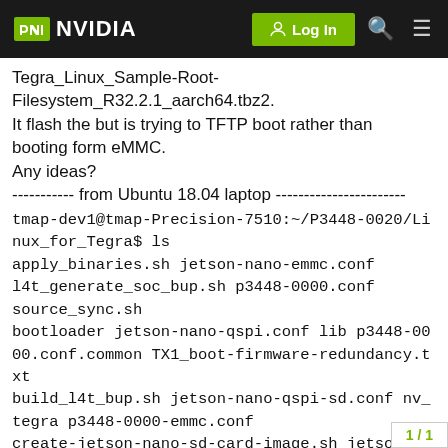NVIDIA — Log In
Tegra_Linux_Sample-Root-Filesystem_R32.2.1_aarch64.tbz2.
It flash the but is trying to TFTP boot rather than booting form eMMC.
Any ideas?
----------- from Ubuntu 18.04 laptop -----------------------
tmap-dev1@tmap-Precision-7510:~/P3448-0020/Linux_for_Tegra$ ls
apply_binaries.sh jetson-nano-emmc.conf
l4t_generate_soc_bup.sh p3448-0000.conf
source_sync.sh
bootloader jetson-nano-qspi.conf lib p3448-0000.conf.common TX1_boot-firmware-redundancy.txt
build_l4t_bup.sh jetson-nano-qspi-sd.conf nv_tegra p3448-0000-emmc.conf
create-jetson-nano-sd-card-image.sh jetson-tx1.conf p2371-2180-devkit-24x7.conf p3448-0000-sd.conf
flash.sh kernel p2371-2180-devkit.conf rootfs
tmap-dev1@tmap-Precision-7510:~/P3
1 / 1